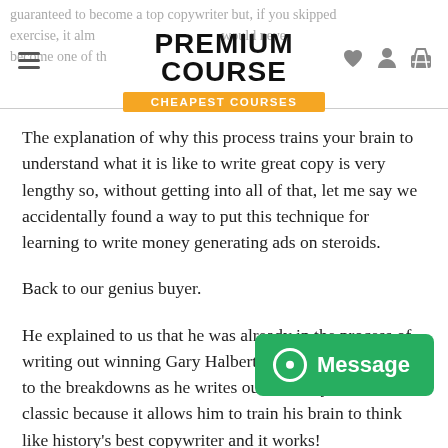PREMIUM COURSE | CHEAPEST COURSES
The explanation of why this process trains your brain to understand what it is like to write great copy is very lengthy so, without getting into all of that, let me say we accidentally found a way to put this technique for learning to write money generating ads on steroids.
Back to our genius buyer.
He explained to us that he was already in the process of writing out winning Gary Halbert ads but now he listens to the breakdowns as he writes out the Gary Halbert classic because it allows him to train his brain to think like history's best copywriter and it works!
It's simple and pure genius but there is an even better